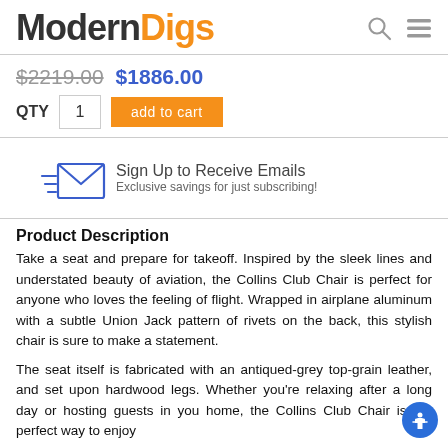Modern Digs
$2219.00  $1886.00
QTY  1  add to cart
[Figure (illustration): Envelope icon with motion lines and text: Sign Up to Receive Emails — Exclusive savings for just subscribing!]
Product Description
Take a seat and prepare for takeoff. Inspired by the sleek lines and understated beauty of aviation, the Collins Club Chair is perfect for anyone who loves the feeling of flight. Wrapped in airplane aluminum with a subtle Union Jack pattern of rivets on the back, this stylish chair is sure to make a statement.
The seat itself is fabricated with an antiqued-grey top-grain leather, and set upon hardwood legs. Whether you're relaxing after a long day or hosting guests in your home, the Collins Club Chair is the perfect way to enjoy